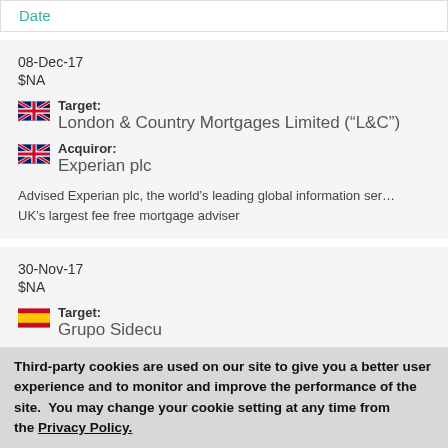| Date |
| --- |
08-Dec-17
$NA
Target: London & Country Mortgages Limited (“L&C”)
Acquiror: Experian plc
Advised Experian plc, the world’s leading global information services company, on its acquisition of L&C, the UK’s largest fee free mortgage adviser
30-Nov-17
$NA
Target: Grupo Sidecu
Third-party cookies are used on our site to give you a better user experience and to monitor and improve the performance of the site.  You may change your cookie setting at any time from the Privacy Policy.